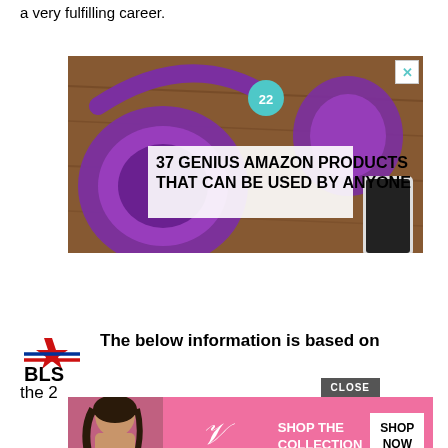a very fulfilling career.
[Figure (photo): Advertisement banner showing purple headphones on a wooden surface with text '37 GENIUS AMAZON PRODUCTS THAT CAN BE USED BY ANYONE' and a teal badge showing '22']
[Figure (logo): BLS (Bureau of Labor Statistics) star logo]
The below information is based on
the 2
[Figure (photo): Victoria's Secret advertisement showing a model with curly hair and 'SHOP THE COLLECTION' / 'SHOP NOW' button, with a CLOSE button overlay]